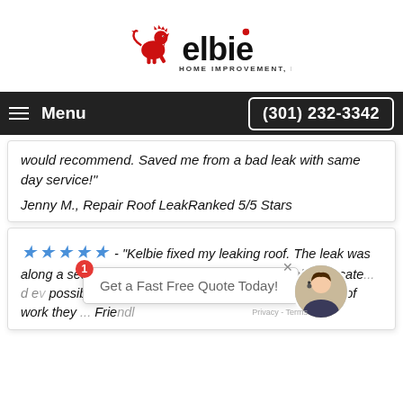[Figure (logo): Kelbie Home Improvement, Inc. logo with red rampant lion and stylized text]
Menu  (301) 232-3342
would recommend. Saved me from a bad leak with same day service!"
Jenny M., Repair Roof LeakRanked 5/5 Stars
★★★★★ - "Kelbie fixed my leaking roof. The leak was along a seam in the roofline and nearly impossible to locate... they did everything possible... very reasonable price for the amount of work they did...
[Figure (photo): Chat popup saying Get a Fast Free Quote Today! with female agent photo, red badge showing 1, and Privacy Terms notice]